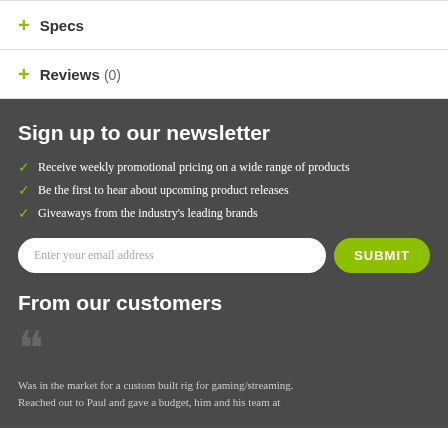+ Specs
+ Reviews (0)
Sign up to our newsletter
Receive weekly promotional pricing on a wide range of products
Be the first to hear about upcoming product releases
Giveaways from the industry's leading brands
Enter your email address | SUBMIT
From our customers
Was in the market for a custom built rig for gaming/streaming. Reached out to Paul and gave a budget, him and his team at